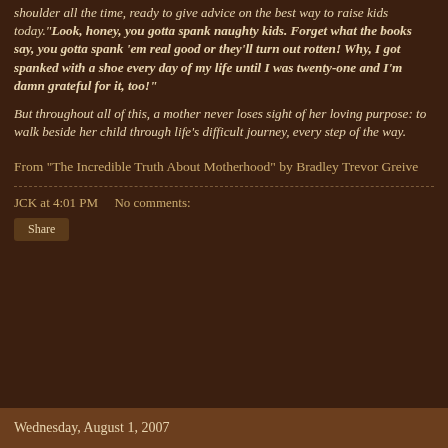shoulder all the time, ready to give advice on the best way to raise kids today."Look, honey, you gotta spank naughty kids. Forget what the books say, you gotta spank 'em real good or they'll turn out rotten! Why, I got spanked with a shoe every day of my life until I was twenty-one and I'm damn grateful for it, too!"
But throughout all of this, a mother never loses sight of her loving purpose: to walk beside her child through life's difficult journey, every step of the way.
From "The Incredible Truth About Motherhood" by Bradley Trevor Greive
JCK at 4:01 PM    No comments:
Share
Wednesday, August 1, 2007